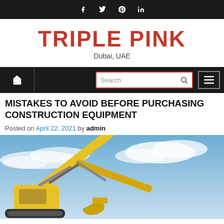f  twitter  pinterest  in
TRIPLE PINK
Dubai, UAE
[Figure (screenshot): Navigation bar with home icon, search box, and menu icon on dark background]
MISTAKES TO AVOID BEFORE PURCHASING CONSTRUCTION EQUIPMENT
Posted on April 22, 2021 by admin
[Figure (photo): Yellow excavator arm against blue cloudy sky]